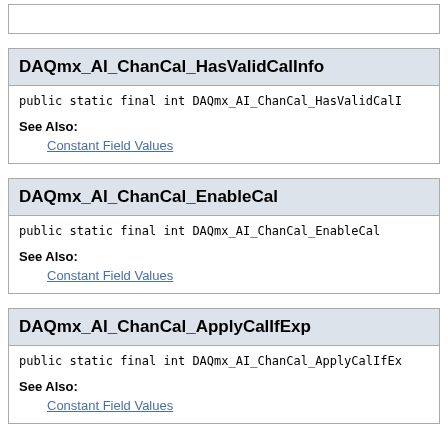DAQmx_AI_ChanCal_HasValidCalInfo
public static final int DAQmx_AI_ChanCal_HasValidCalInfo
See Also:
Constant Field Values
DAQmx_AI_ChanCal_EnableCal
public static final int DAQmx_AI_ChanCal_EnableCal
See Also:
Constant Field Values
DAQmx_AI_ChanCal_ApplyCalIfExp
public static final int DAQmx_AI_ChanCal_ApplyCalIfEx
See Also:
Constant Field Values